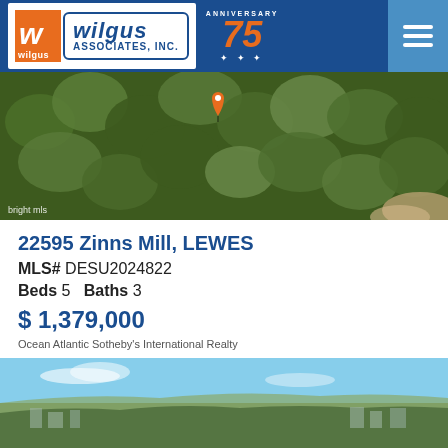[Figure (logo): Wilgus Associates Inc. logo with 75th anniversary badge and hamburger menu button on dark blue header background]
[Figure (photo): Aerial photograph of wooded/forested area with a map pin marker in the center, bright MLS watermark in bottom left]
22595 Zinns Mill, LEWES
MLS# DESU2024822
Beds 5   Baths 3
$ 1,379,000
Ocean Atlantic Sotheby's International Realty
[Figure (photo): Exterior/landscape photo showing blue sky and green trees with buildings or neighborhood in background]